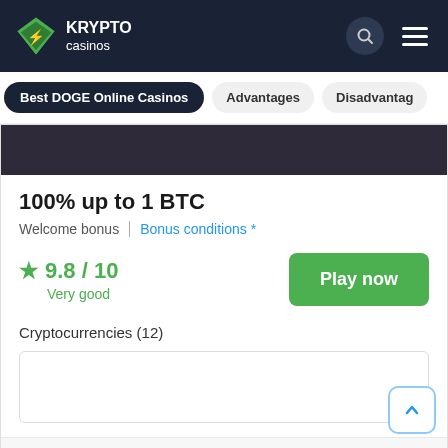KRYPTO Casinos
Best DOGE Online Casinos
Advantages
Disadvantag
100% up to 1 BTC
Welcome bonus | Bonus conditions *
★ 9.8 / 10
Very good
Play now
Cryptocurrencies (12)
Rocketpot review